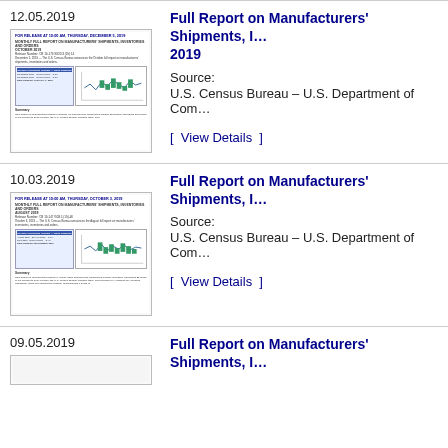12.05.2019
[Figure (screenshot): Thumbnail of Full Report on Manufacturers' Shipments, Inventories and Orders for October 2019]
Full Report on Manufacturers' Shipments, Inventories and Orders October 2019
Source:
U.S. Census Bureau – U.S. Department of Commerce
[ View Details ]
10.03.2019
[Figure (screenshot): Thumbnail of Full Report on Manufacturers' Shipments, Inventories and Orders for August 2019]
Full Report on Manufacturers' Shipments, Inventories and Orders August 2019
Source:
U.S. Census Bureau – U.S. Department of Commerce
[ View Details ]
09.05.2019
[Figure (screenshot): Thumbnail of Full Report on Manufacturers' Shipments, Inventories and Orders]